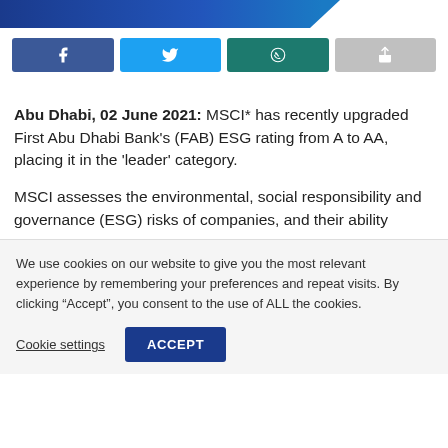[Figure (other): Blue gradient header banner with diagonal cut on right side — FAB bank website header bar]
[Figure (other): Social sharing buttons row: Facebook (dark blue), Twitter (light blue), WhatsApp (teal/green), Share (gray)]
Abu Dhabi, 02 June 2021: MSCI* has recently upgraded First Abu Dhabi Bank's (FAB) ESG rating from A to AA, placing it in the 'leader' category.
MSCI assesses the environmental, social responsibility and governance (ESG) risks of companies, and their ability
We use cookies on our website to give you the most relevant experience by remembering your preferences and repeat visits. By clicking "Accept", you consent to the use of ALL the cookies.
Cookie settings
ACCEPT